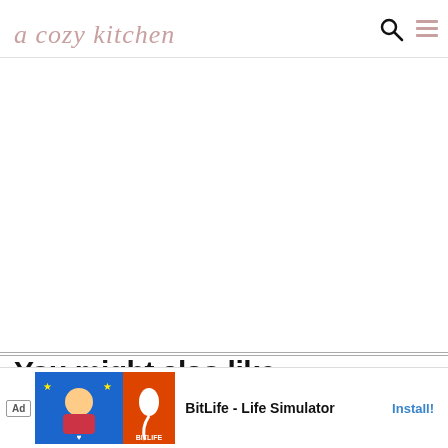a cozy kitchen
You might also like...
[Figure (screenshot): Two food thumbnail images side by side showing recipe previews]
[Figure (screenshot): Advertisement banner for BitLife - Life Simulator app with Install button]